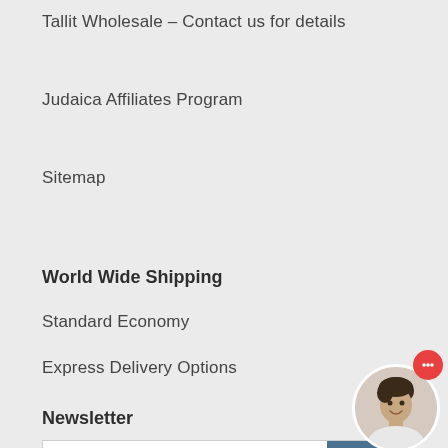Tallit Wholesale – Contact us for details
Judaica Affiliates Program
Sitemap
World Wide Shipping
Standard Economy
Express Delivery Options
Newsletter
Email address  SUBSCR…